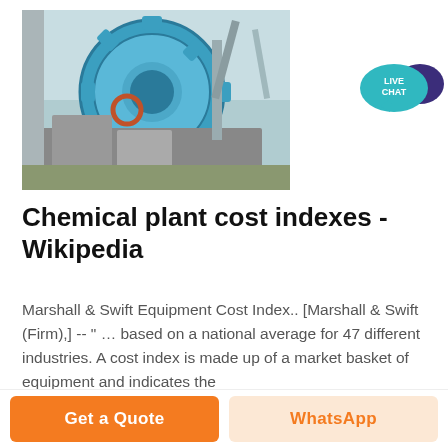[Figure (photo): Industrial sand washing machine with large blue circular gear/wheel and mechanical components at a plant site.]
[Figure (infographic): Live Chat speech bubble icon in teal/dark blue colors with text 'LIVE CHAT'.]
Chemical plant cost indexes - Wikipedia
Marshall & Swift Equipment Cost Index.. [Marshall & Swift (Firm),;] -- " … based on a national average for 47 different industries. A cost index is made up of a market basket of equipment and indicates the
Get a Quote   WhatsApp